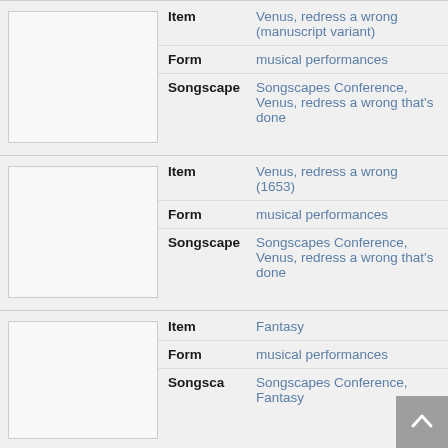|  | Field | Value |
| --- | --- | --- |
| [music note icon] | Item | Venus, redress a wrong (manuscript variant) |
|  | Form | musical performances |
|  | Songscape | Songscapes Conference, Venus, redress a wrong that's done |
| [music note icon] | Item | Venus, redress a wrong (1653) |
|  | Form | musical performances |
|  | Songscape | Songscapes Conference, Venus, redress a wrong that's done |
| [music note icon] | Item | Fantasy |
|  | Form | musical performances |
|  | Songscape | Songscapes Conference, Fantasy |